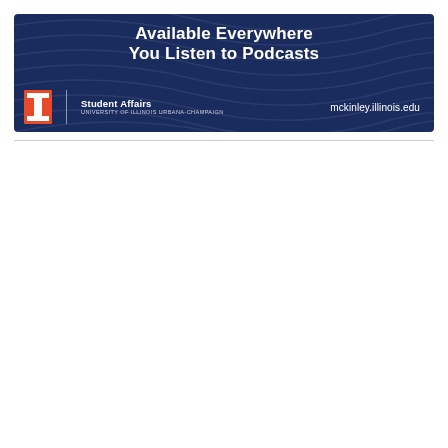[Figure (illustration): University of Illinois McKinley Health Center podcast advertisement banner on dark navy blue background with wave pattern. Text reads 'Available Everywhere You Listen to Podcasts'. Bottom left shows the Block I logo with 'Student Affairs / University of Illinois Urbana-Champaign'. Bottom right shows 'mckinley.illinois.edu'.]